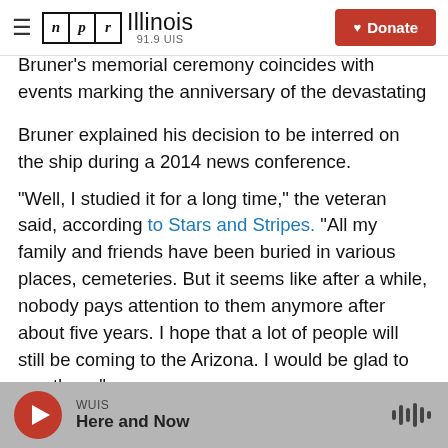NPR Illinois 91.9 UIS | Donate
Bruner's memorial ceremony coincides with events marking the anniversary of the devastating attack.
Bruner explained his decision to be interred on the ship during a 2014 news conference.
"Well, I studied it for a long time," the veteran said, according to Stars and Stripes. "All my family and friends have been buried in various places, cemeteries. But it seems like after a while, nobody pays attention to them anymore after about five years. I hope that a lot of people will still be coming to the Arizona. I would be glad to see them."
WUIS | Here and Now